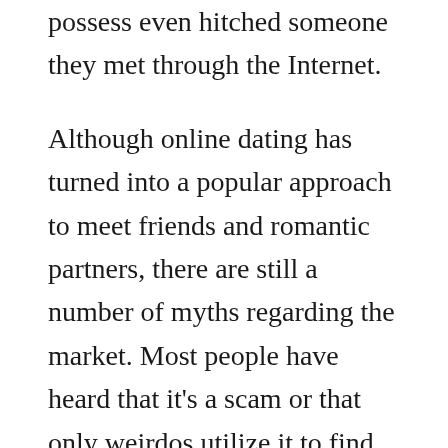possess even hitched someone they met through the Internet.
Although online dating has turned into a popular approach to meet friends and romantic partners, there are still a number of myths regarding the market. Most people have heard that it's a scam or that only weirdos utilize it to find the soulmates. Nowadays, however , online dating services has become a multi-million dollar industry that caters to lots of different people. You